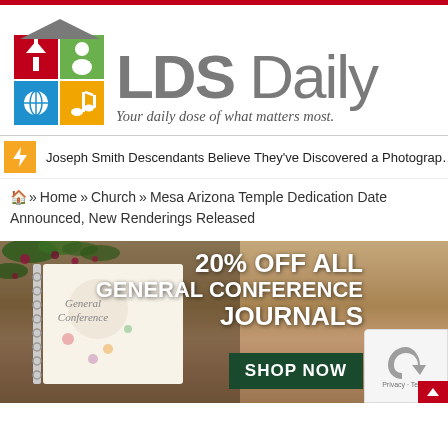[Figure (logo): LDS Daily logo with colorful icon grid (church, person, globe, music note icons) and house roof shape, with text 'LDS Daily' and tagline 'Your daily dose of what matters most.']
Joseph Smith Descendants Believe They've Discovered a Photograph...
🏠 Home » Church » Mesa Arizona Temple Dedication Date Announced, New Renderings Released
[Figure (photo): Advertisement banner showing a General Conference journal on a wood surface with purple flowers, text '20% OFF ALL GENERAL CONFERENCE JOURNALS', dark green 'SHOP NOW' button, and reCAPTCHA overlay in bottom right.]